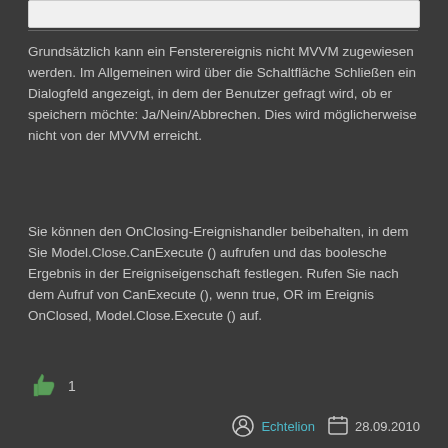[Figure (screenshot): Partial screenshot of a UI element or image box at the top of the page]
Grundsätzlich kann ein Fensterereignis nicht MVVM zugewiesen werden. Im Allgemeinen wird über die Schaltfläche Schließen ein Dialogfeld angezeigt, in dem der Benutzer gefragt wird, ob er speichern möchte: Ja/Nein/Abbrechen. Dies wird möglicherweise nicht von der MVVM erreicht.
Sie können den OnClosing-Ereignishandler beibehalten, in dem Sie Model.Close.CanExecute () aufrufen und das boolesche Ergebnis in der Ereigniseigenschaft festlegen. Rufen Sie nach dem Aufruf von CanExecute (), wenn true, OR im Ereignis OnClosed, Model.Close.Execute () auf.
1
Echtelion   28.09.2010